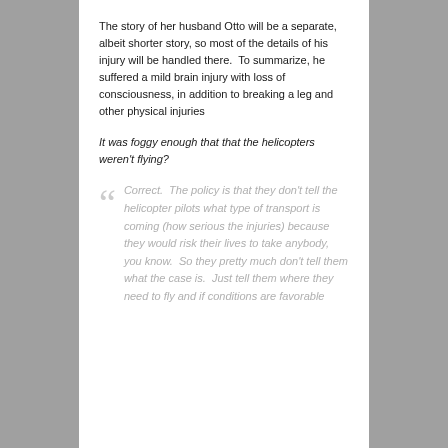The story of her husband Otto will be a separate, albeit shorter story, so most of the details of his injury will be handled there.  To summarize, he suffered a mild brain injury with loss of consciousness, in addition to breaking a leg and other physical injuries
It was foggy enough that that the helicopters weren't flying?
Correct.  The policy is that they don't tell the helicopter pilots what type of transport is coming (how serious the injuries) because they would risk their lives to take anybody, you know.  So they pretty much don't tell them what the case is.  Just tell them where they need to fly and if conditions are favorable